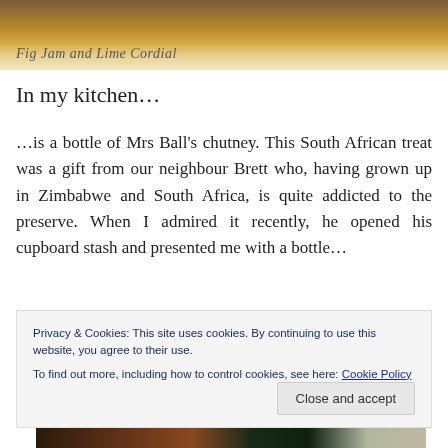[Figure (photo): Top portion of a blog header image showing a jar/bottle on a surface with 'Fig Jam and Lime Cordial' watermark text in italic script]
In my kitchen…
…is a bottle of Mrs Ball's chutney. This South African treat was a gift from our neighbour Brett who, having grown up in Zimbabwe and South Africa, is quite addicted to the preserve. When I admired it recently, he opened his cupboard stash and presented me with a bottle…
[Figure (photo): Bottom portion showing a dark bottle of Mrs Ball's chutney]
Privacy & Cookies: This site uses cookies. By continuing to use this website, you agree to their use.
To find out more, including how to control cookies, see here: Cookie Policy
Close and accept